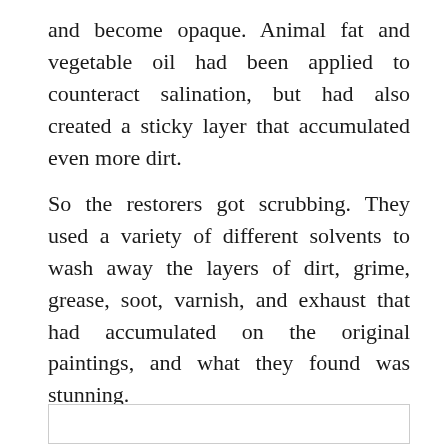and become opaque. Animal fat and vegetable oil had been applied to counteract salination, but had also created a sticky layer that accumulated even more dirt.
So the restorers got scrubbing. They used a variety of different solvents to wash away the layers of dirt, grime, grease, soot, varnish, and exhaust that had accumulated on the original paintings, and what they found was stunning.
[Figure (other): Empty white box with light border at bottom of page]